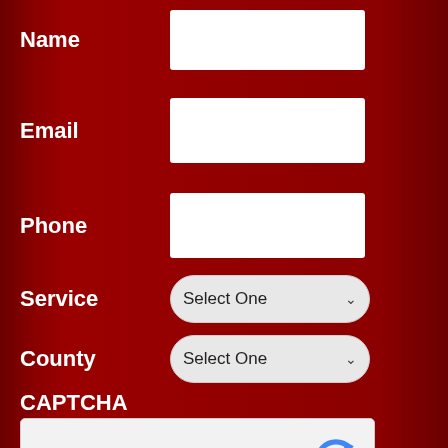Name
Email
Phone
Service
County
CAPTCHA
I'm not a robot
reCAPTCHA
Privacy - Terms
Submit